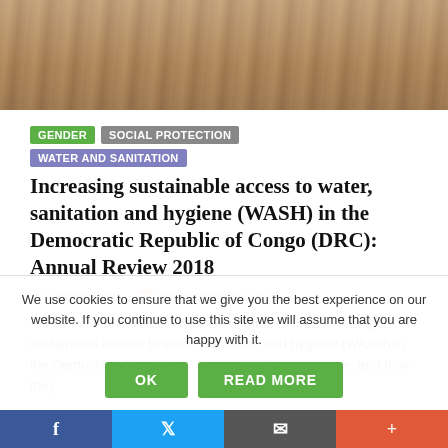[Figure (photo): Top photo strip showing people, partially cropped at the top of the page.]
GENDER   SOCIAL PROTECTION   WATER AND SANITATION
Increasing sustainable access to water, sanitation and hygiene (WASH) in the Democratic Republic of Congo (DRC): Annual Review 2018
Assignment   September 27, 2018
This annual review assesses the outputs of the Increasing sustainable access to water, sanitation and hygiene (WASH) in the Democratic Republic of Congo (DRC) programme, and how they
We use cookies to ensure that we give you the best experience on our website. If you continue to use this site we will assume that you are happy with it.
OK   READ MORE